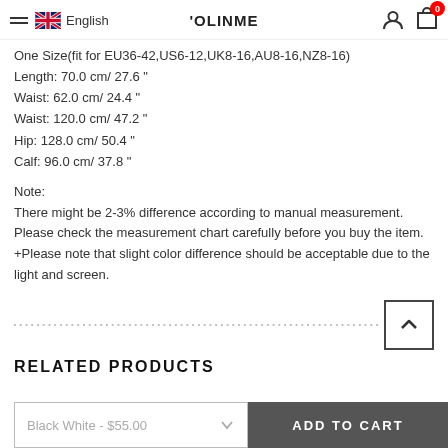OLINME | English
One Size(fit for EU36-42,US6-12,UK8-16,AU8-16,NZ8-16)
Length: 70.0 cm/ 27.6 "
Waist: 62.0 cm/ 24.4 "
Waist: 120.0 cm/ 47.2 "
Hip: 128.0 cm/ 50.4 "
Calf: 96.0 cm/ 37.8 "
Note:
There might be 2-3% difference according to manual measurement.
Please check the measurement chart carefully before you buy the item.
+Please note that slight color difference should be acceptable due to the light and screen.
RELATED PRODUCTS
Black White - $55.00
ADD TO CART